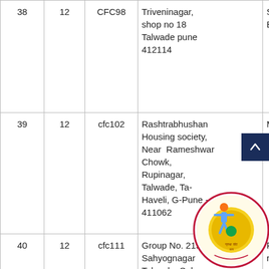| Sr. | Ward No. | CFC Code | Address | Name |
| --- | --- | --- | --- | --- |
| 38 | 12 | CFC98 | Triveninagar, shop no 18 Talwade pune 412114 | Shri Gau Bhiwaji T |
| 39 | 12 | cfc102 | Rashtrabhushan Housing society, Near Rameshwar Chowk, Rupinagar, Talwade, Ta-Haveli, G-Pune - 411062 | Mr. Rites Rajendra Sonawa |
| 40 | 12 | cfc111 | Group No. 219B Sahyognagar Talwade, Sahyo Nagar, Sahyog Hou. Society, Pune - 411062 | Rank ra |
[Figure (logo): Circular organization logo with blue border, orange and green human figure icon, and emblem in center with text in Marathi]